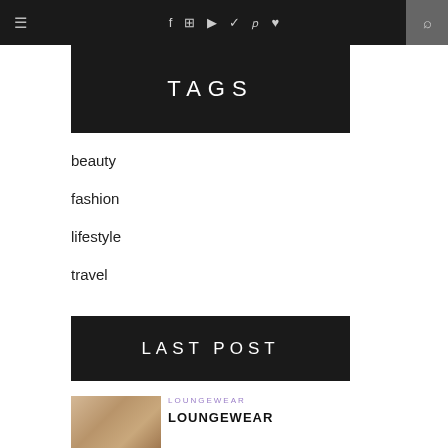≡  f  ⊡  ▶  ✓  p  ♥  🔍
TAGS
beauty
fashion
lifestyle
travel
LAST POST
LOUNGEWEAR
LOUNGEWEAR